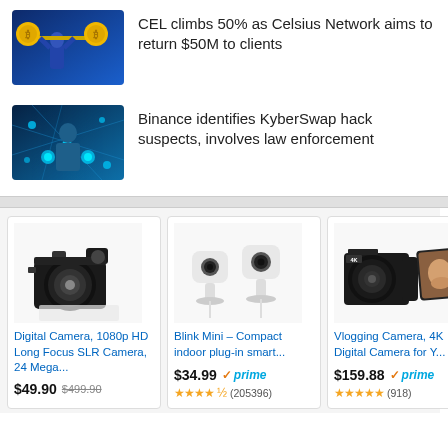[Figure (photo): Cryptocurrency themed image with person lifting coin barbells]
CEL climbs 50% as Celsius Network aims to return $50M to clients
[Figure (photo): Blockchain/hacking themed image with person and glowing tech interface]
Binance identifies KyberSwap hack suspects, involves law enforcement
[Figure (photo): Digital SLR camera product photo]
Digital Camera, 1080p HD Long Focus SLR Camera, 24 Mega...
$49.90  $499.90
[Figure (photo): Two white Blink Mini indoor security cameras on stands]
Blink Mini – Compact indoor plug-in smart...
$34.99  prime  ★★★★☆ (205396)
[Figure (photo): Black 4K vlogging digital camera with flip screen]
Vlogging Camera, 4K Digital Camera for Y...
$159.88  prime  ★★★★★ (918)